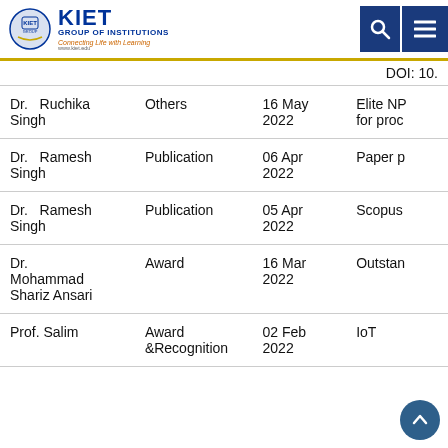[Figure (logo): KIET Group of Institutions logo with shield emblem and tagline 'Connecting Life with Learning']
| Name | Type | Date | Details |
| --- | --- | --- | --- |
|  |  |  | DOI: 10. |
| Dr. Ruchika Singh | Others | 16 May 2022 | Elite NP for proc |
| Dr. Ramesh Singh | Publication | 06 Apr 2022 | Paper p |
| Dr. Ramesh Singh | Publication | 05 Apr 2022 | Scopus |
| Dr. Mohammad Shariz Ansari | Award | 16 Mar 2022 | Outstan |
| Prof. Salim | Award &Recognition | 02 Feb 2022 | IoT |